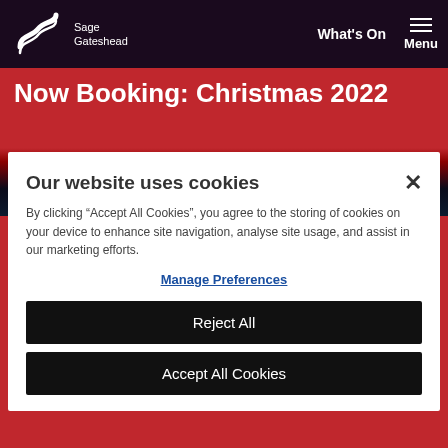Sage Gateshead — What's On   Menu
Now Booking: Christmas 2022
[Figure (screenshot): Dark background image strip, partial view of a dark stage/venue photo]
Our website uses cookies
By clicking "Accept All Cookies", you agree to the storing of cookies on your device to enhance site navigation, analyse site usage, and assist in our marketing efforts.
Manage Preferences
Reject All
Accept All Cookies